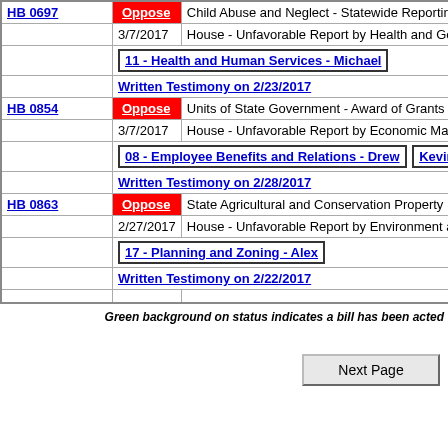| Bill | Status/Info | Description |
| --- | --- | --- |
| HB 0697 | Oppose | Child Abuse and Neglect - Statewide Reporting - 2-1-1 Mar... |
|  | 3/7/2017 | House - Unfavorable Report by Health and Government Op... |
|  | 11 - Health and Human Services - Michael |  |
|  | Written Testimony on 2/23/2017 |  |
| HB 0854 | Oppose | Units of State Government - Award of Grants to Counties - ... |
|  | 3/7/2017 | House - Unfavorable Report by Economic Matters |
|  | 08 - Employee Benefits and Relations - Drew | Kevin |  |
|  | Written Testimony on 2/28/2017 |  |
| HB 0863 | Oppose | State Agricultural and Conservation Property Interests - Sol... |
|  | 2/27/2017 | House - Unfavorable Report by Environment and Transport... |
|  | 17 - Planning and Zoning - Alex |  |
|  | Written Testimony on 2/22/2017 |  |
Green background on status indicates a bill has been acted...
Next Page